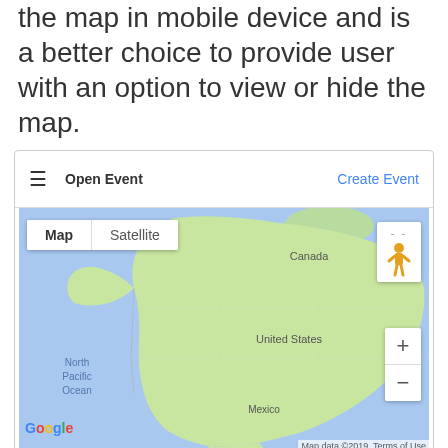the map in mobile device and is a better choice to provide user with an option to view or hide the map.
[Figure (screenshot): Mobile app screenshot showing a Google Maps embed with a navigation bar (hamburger menu, Open Event, Create Event), a map of North America with Map/Satellite toggle, zoom controls, pegman icon, Google watermark, Map data ©2019, Terms of Use. Below the map is an Enter Location input field, then a section with Event Call For Speakers and a checked Open checkbox.]